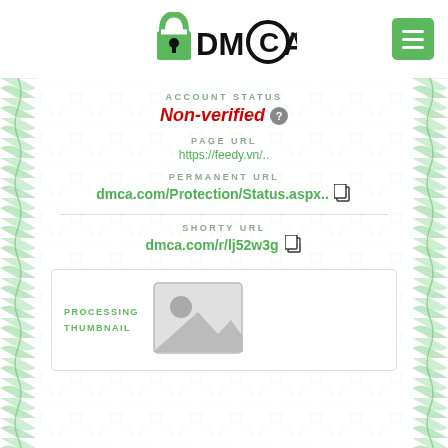[Figure (logo): DMCA.com logo with padlock icon]
ACCOUNT STATUS
Non-verified
PAGE URL
https://feedy.vn/..
PERMANENT URL
dmca.com/Protection/Status.aspx..
SHORTY URL
dmca.com/r/lj52w3g
PROCESSING THUMBNAIL